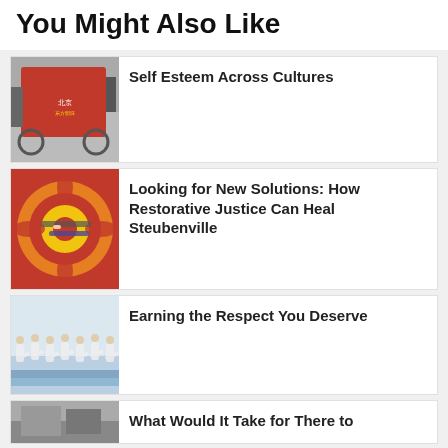You Might Also Like
Self Esteem Across Cultures
Looking for New Solutions: How Restorative Justice Can Heal Steubenville
Earning the Respect You Deserve
What Would It Take for There to